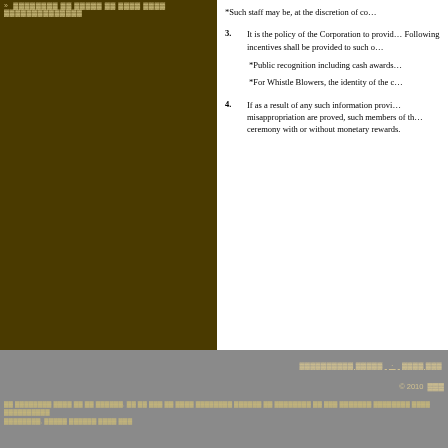Such staff may be, at the discretion of co...
3. It is the policy of the Corporation to provid... Following incentives shall be provided to such o...
*Public recognition including cash awards...
*For Whistle Blowers, the identity of the c...
4. If as a result of any such information provi... misappropriation are proved, such members of th... ceremony with or without monetary rewards.
© 2010